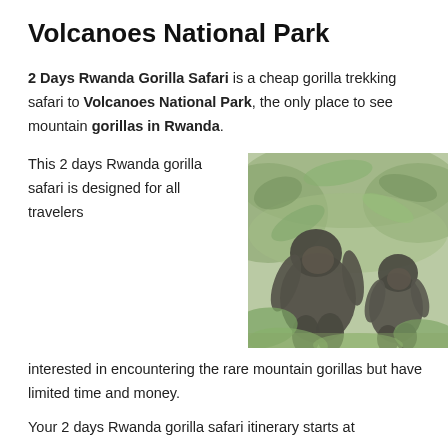Volcanoes National Park
2 Days Rwanda Gorilla Safari is a cheap gorilla trekking safari to Volcanoes National Park, the only place to see mountain gorillas in Rwanda.
This 2 days Rwanda gorilla safari is designed for all travelers
[Figure (photo): Two mountain gorillas in a green forest setting at Volcanoes National Park, Rwanda]
interested in encountering the rare mountain gorillas but have limited time and money.
Your 2 days Rwanda gorilla safari itinerary starts at...